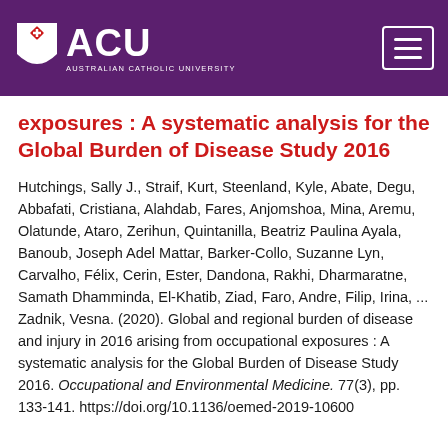[Figure (logo): Australian Catholic University (ACU) logo with shield icon and text on purple header bar with hamburger menu button]
exposures : A systematic analysis for the Global Burden of Disease Study 2016
Hutchings, Sally J., Straif, Kurt, Steenland, Kyle, Abate, Degu, Abbafati, Cristiana, Alahdab, Fares, Anjomshoa, Mina, Aremu, Olatunde, Ataro, Zerihun, Quintanilla, Beatriz Paulina Ayala, Banoub, Joseph Adel Mattar, Barker-Collo, Suzanne Lyn, Carvalho, Félix, Cerin, Ester, Dandona, Rakhi, Dharmaratne, Samath Dhamminda, El-Khatib, Ziad, Faro, Andre, Filip, Irina, ... Zadnik, Vesna. (2020). Global and regional burden of disease and injury in 2016 arising from occupational exposures : A systematic analysis for the Global Burden of Disease Study 2016. Occupational and Environmental Medicine. 77(3), pp. 133-141. https://doi.org/10.1136/oemed-2019-106023